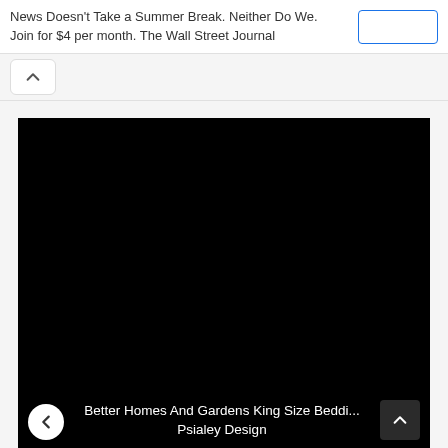News Doesn't Take a Summer Break. Neither Do We. Join for $4 per month. The Wall Street Journal
[Figure (screenshot): A mostly black image area used as a photo/video placeholder in a carousel, showing navigation arrows and a caption overlay at the bottom.]
Better Homes And Gardens King Size Beddi... Psialey Design